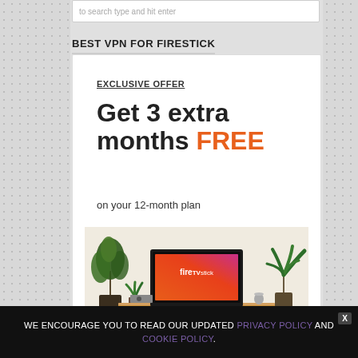to search type and hit enter
BEST VPN FOR FIRESTICK
EXCLUSIVE OFFER
Get 3 extra months FREE on your 12-month plan
[Figure (photo): Amazon Fire TV Stick displayed on a TV screen sitting on a wooden TV unit with plants on either side]
WE ENCOURAGE YOU TO READ OUR UPDATED PRIVACY POLICY AND COOKIE POLICY.